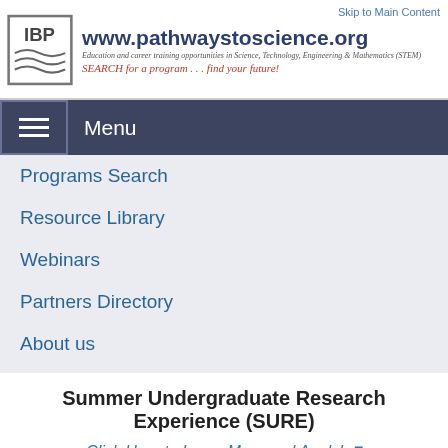Skip to Main Content
[Figure (logo): IBP logo with www.pathwaystoscience.org header, tagline: Education and career training opportunities in Science, Technology, Engineering & Mathematics (STEM), slogan: SEARCH for a program ... find your future!]
Menu
Programs Search
Resource Library
Webinars
Partners Directory
About us
Summer Undergraduate Research Experience (SURE)
Click Here to Learn More and Apply!